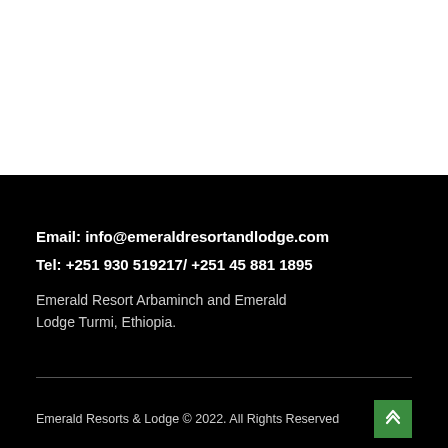Email: info@emeraldresortandlodge.com
Tel: +251 930 519217/ +251 45 881 1895
Emerald Resort Arbaminch and Emerald Lodge Turmi, Ethiopia.
Emerald Resorts & Lodge © 2022. All Rights Reserved